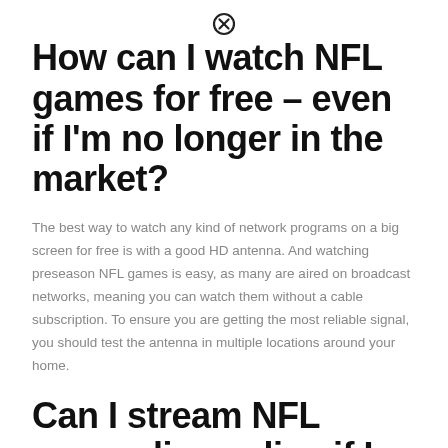How can I watch NFL games for free – even if I'm no longer in the market?
The best way to watch any kind of network programs on a big screen for free is with a good HD antenna. And watching preseason NFL games is easy, as many are aired on broadcast networks, meaning you can watch them without a cable subscription. To ensure you are getting the most reliable signal, you should test the antenna in multiple locations around your home.
Can I stream NFL games live online if I don't have a cable subscription?